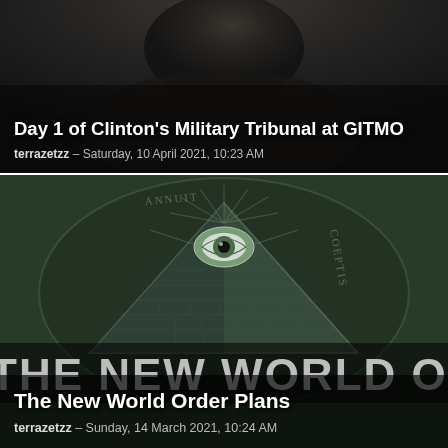[Figure (photo): Dark background with a faint face silhouette at top, article card thumbnail for Clinton Military Tribunal article]
Day 1 of Clinton's Military Tribunal at GITMO
terrazetzz – Saturday, 10 April 2021, 10:23 AM
[Figure (photo): Black and white image of US dollar bill featuring the eye of providence / all-seeing eye atop pyramid, with 'THE NEW WORLD ORDER' text overlaid in large letters]
The New World Order Plans
terrazetzz – Sunday, 14 March 2021, 10:24 AM
[Figure (photo): Blue-toned dramatic photo showing an older blonde man grimacing, with a child and another figure visible, smoky mystical background]